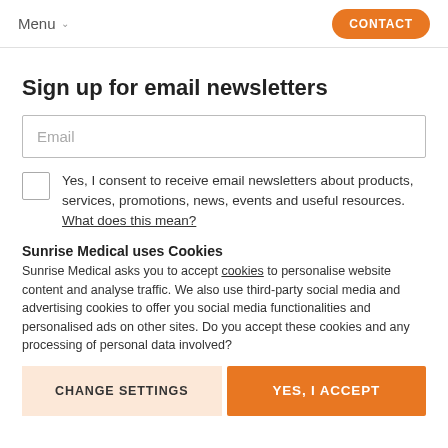Menu  CONTACT
Sign up for email newsletters
Email
Yes, I consent to receive email newsletters about products, services, promotions, news, events and useful resources. What does this mean?
Sunrise Medical uses Cookies
Sunrise Medical asks you to accept cookies to personalise website content and analyse traffic. We also use third-party social media and advertising cookies to offer you social media functionalities and personalised ads on other sites. Do you accept these cookies and any processing of personal data involved?
CHANGE SETTINGS    YES, I ACCEPT